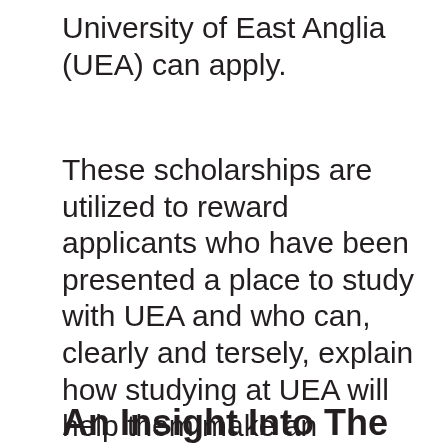University of East Anglia (UEA) can apply.
These scholarships are utilized to reward applicants who have been presented a place to study with UEA and who can, clearly and tersely, explain how studying at UEA will help them make an unresolved contribution to their chosen field of study and to the broader UEA community.
An Insight Into The